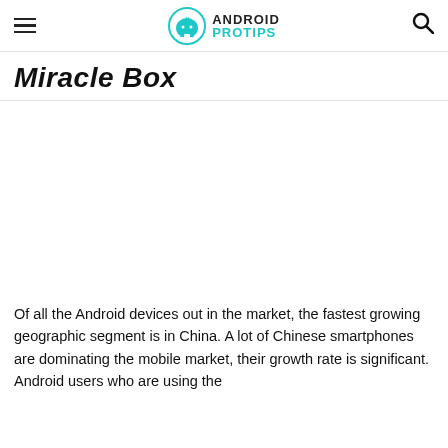Android ProTips
Miracle Box
[Figure (other): White blank area serving as image placeholder for Miracle Box article]
Of all the Android devices out in the market, the fastest growing geographic segment is in China. A lot of Chinese smartphones are dominating the mobile market, their growth rate is significant. Android users who are using the